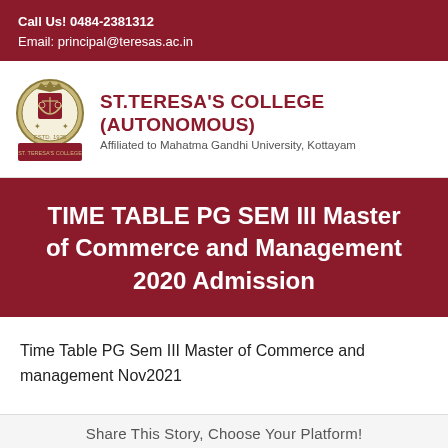Call Us! 0484-2381312
Email: principal@teresas.ac.in
[Figure (logo): St. Teresa's College circular emblem/crest with shield and crown motifs, and a red rectangular banner at the bottom with college name]
ST.TERESA'S COLLEGE (AUTONOMOUS)
Affiliated to Mahatma Gandhi University, Kottayam
TIME TABLE PG SEM III Master of Commerce and Management 2020 Admission
Time Table PG Sem III Master of Commerce and management Nov2021
Share This Story, Choose Your Platform!